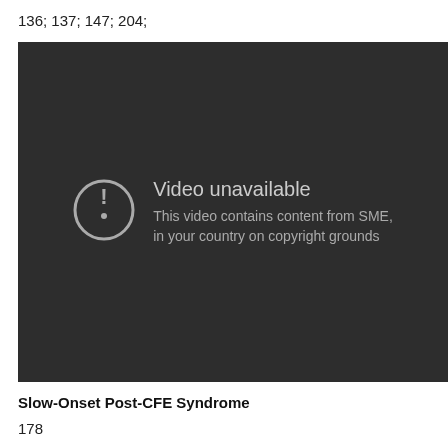136; 137; 147; 204;
[Figure (screenshot): YouTube video unavailable error screen with dark background showing an alert circle icon and text: 'Video unavailable. This video contains content from SME, in your country on copyright grounds']
Slow-Onset Post-CFE Syndrome
178